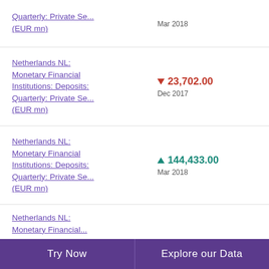Quarterly: Private Se... (EUR mn) | Mar 2018
Netherlands NL: Monetary Financial Institutions: Deposits: Quarterly: Private Se... (EUR mn) | ▼ 23,702.00 | Dec 2017
Netherlands NL: Monetary Financial Institutions: Deposits: Quarterly: Private Se... (EUR mn) | ▲ 144,433.00 | Mar 2018
Netherlands NL: Monetary Financial...
Try Now | Explore our Data